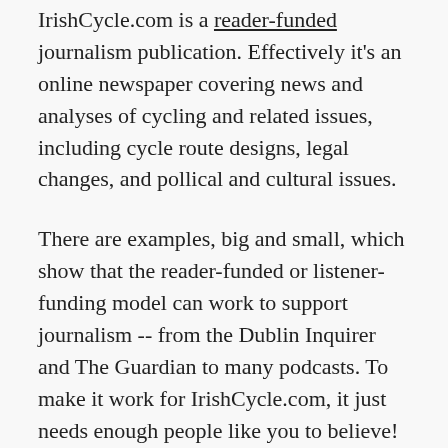IrishCycle.com is a reader-funded journalism publication. Effectively it's an online newspaper covering news and analyses of cycling and related issues, including cycle route designs, legal changes, and pollical and cultural issues.
There are examples, big and small, which show that the reader-funded or listener-funding model can work to support journalism -- from the Dublin Inquirer and The Guardian to many podcasts. To make it work for IrishCycle.com, it just needs enough people like you to believe!
Monthly subscriptions will give IrishCycle.com's journalism a dependable base of support. But please don't take free access for granted. Last year